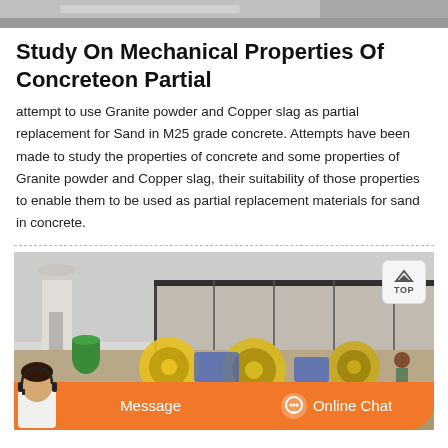[Figure (photo): Top partial photo of concrete/material, gray tones, cropped at top of page]
Study On Mechanical Properties Of Concreteon Partial
attempt to use Granite powder and Copper slag as partial replacement for Sand in M25 grade concrete. Attempts have been made to study the properties of concrete and some properties of Granite powder and Copper slag, their suitability of those properties to enable them to be used as partial replacement materials for sand in concrete.
[Figure (photo): Construction/industrial site photo showing concrete mixing equipment, silos, machinery with yellow and blue components, workers in background, with orange Message and Online Chat overlay bar at bottom and a TOP navigation button at top right]